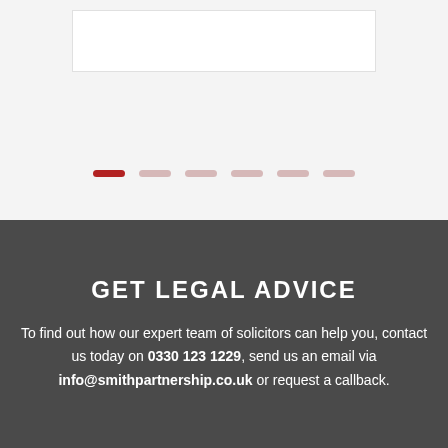[Figure (other): Top section with white box and pagination dots (slider indicator) on a light grey background. First dot is red/active, remaining five are light pink/inactive.]
GET LEGAL ADVICE
To find out how our expert team of solicitors can help you, contact us today on 0330 123 1229, send us an email via info@smithpartnership.co.uk or request a callback.